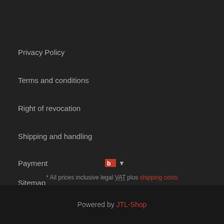Privacy Policy
Terms and conditions
Right of revocation
Shipping and handling
Payment
Sitemap
Imprint
[Figure (other): Flag icon with dropdown arrow for language/country selector]
* All prices inclusive legal VAT plus shipping costs
Powered by JTL-Shop